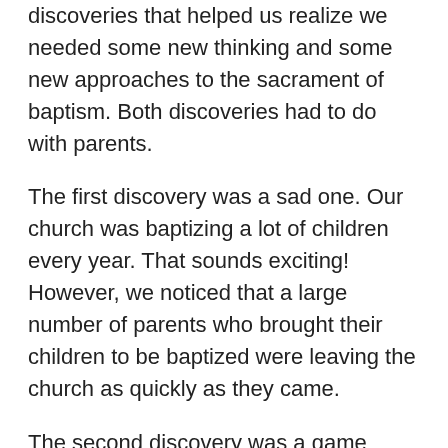discoveries that helped us realize we needed some new thinking and some new approaches to the sacrament of baptism. Both discoveries had to do with parents.
The first discovery was a sad one. Our church was baptizing a lot of children every year. That sounds exciting! However, we noticed that a large number of parents who brought their children to be baptized were leaving the church as quickly as they came.
The second discovery was a game changer. Our children's ministry came across a few statistics that have since changed the way we approach children's ministry. They learned that parents have way more time with their kids than we ever could. If a parent brought their child to church every week